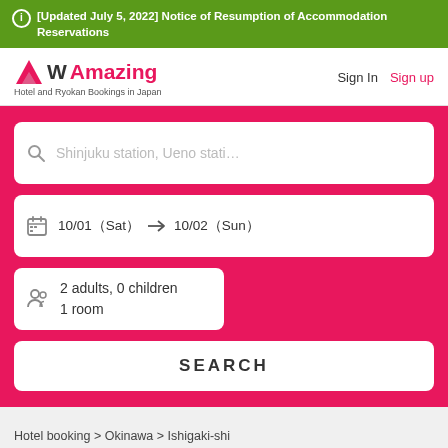[Updated July 5, 2022] Notice of Resumption of Accommodation Reservations
[Figure (logo): WAmazing logo with mountain triangle icon, tagline: Hotel and Ryokan Bookings in Japan]
Sign In   Sign up
Shinjuku station, Ueno stati…
10/01（Sat） → 10/02（Sun）
2 adults, 0 children
1 room
SEARCH
Hotel booking > Okinawa > Ishigaki-shi